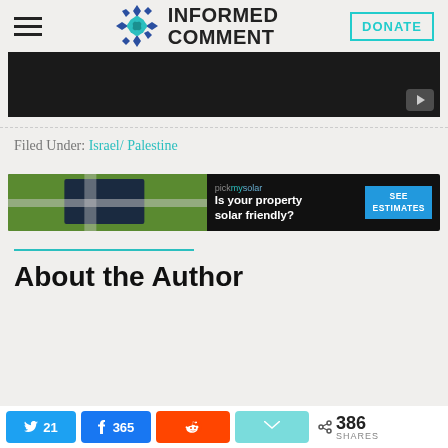INFORMED COMMENT | DONATE
[Figure (screenshot): Dark video player thumbnail with YouTube play button icon]
Filed Under: Israel/ Palestine
[Figure (photo): Pickmysolar advertisement banner: aerial photo of house with solar panels. Text: pickmysolar - Is your property solar friendly? SEE ESTIMATES]
About the Author
21 (Twitter shares) | 365 (Facebook shares) | Reddit share | Email share | 386 SHARES